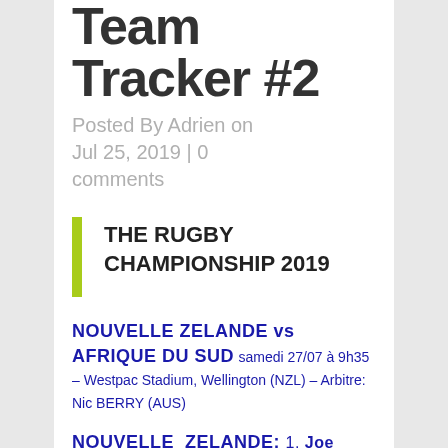Team Tracker #2
Posted By Adrien on Jul 25, 2019 | 0 comments
THE RUGBY CHAMPIONSHIP 2019
NOUVELLE ZELANDE vs AFRIQUE DU SUD samedi 27/07 à 9h35 – Westpac Stadium, Wellington (NZL) – Arbitre: Nic BERRY (AUS)
NOUVELLE ZELANDE: 1. Joe